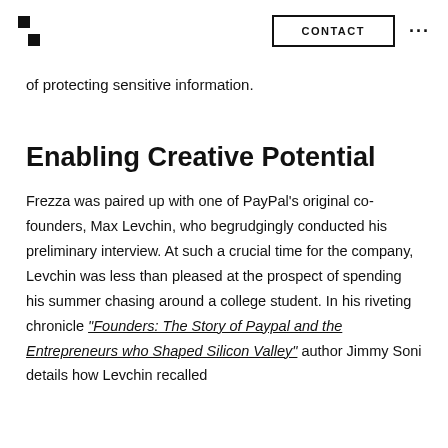CONTACT
of protecting sensitive information.
Enabling Creative Potential
Frezza was paired up with one of PayPal’s original co-founders, Max Levchin, who begrudgingly conducted his preliminary interview. At such a crucial time for the company, Levchin was less than pleased at the prospect of spending his summer chasing around a college student. In his riveting chronicle “Founders: The Story of Paypal and the Entrepreneurs who Shaped Silicon Valley” author Jimmy Soni details how Levchin recalled